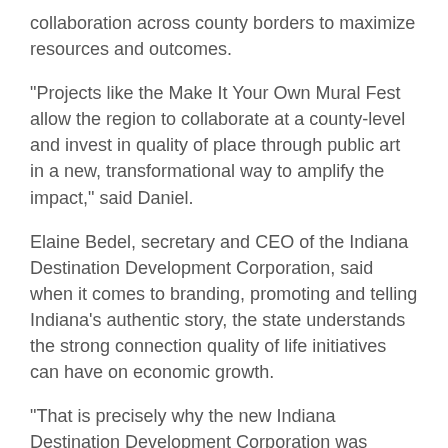collaboration across county borders to maximize resources and outcomes.
“Projects like the Make It Your Own Mural Fest allow the region to collaborate at a county-level and invest in quality of place through public art in a new, transformational way to amplify the impact,” said Daniel.
Elaine Bedel, secretary and CEO of the Indiana Destination Development Corporation, said when it comes to branding, promoting and telling Indiana’s authentic story, the state understands the strong connection quality of life initiatives can have on economic growth.
“That is precisely why the new Indiana Destination Development Corporation was formed and why I continue to seek out new ways the state can partner with and lift up the work of our local communities,” said Bedel. “Today’s announcement about the Make It Your Own Mural Fest is an incredible example of how innovation and creativity,